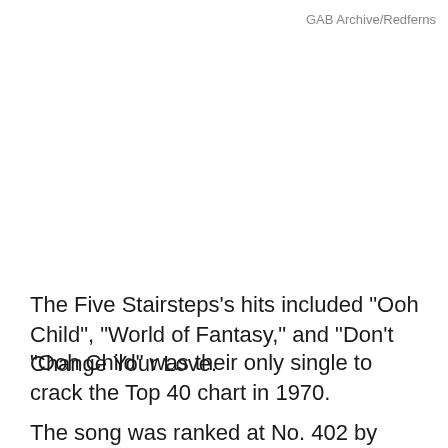GAB Archive/Redferns
The Five Stairsteps's hits included "Ooh Child", "World of Fantasy," and "Don't Change Your Love.
"Ooh Child" was their only single to crack the Top 40 chart in 1970.
The song was ranked at No. 402 by Rolling Stone